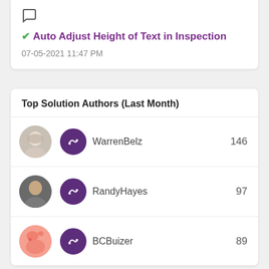[Figure (screenshot): Chat bubble icon]
✔ Auto Adjust Height of Text in Inspection
07-05-2021 11:47 PM
Top Solution Authors (Last Month)
WarrenBelz 146
RandyHayes 97
BCBuizer 89
NandiniBhagya20 79